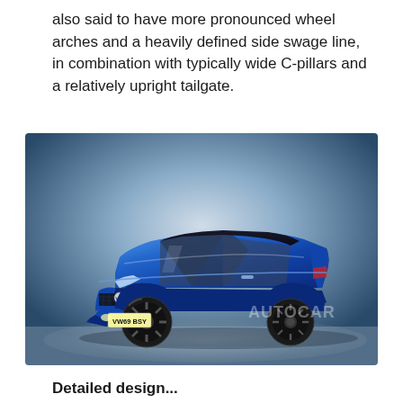also said to have more pronounced wheel arches and a heavily defined side swage line, in combination with typically wide C-pillars and a relatively upright tailgate.
[Figure (photo): Rendered image of a blue Volkswagen hatchback (VW Polo R concept), three-quarter front view, on a grey gradient studio background. The car has dark alloy wheels, aggressive body styling, and a licence plate reading VW69 BSY. An Autocar watermark is visible on the rear quarter.]
Detailed design...